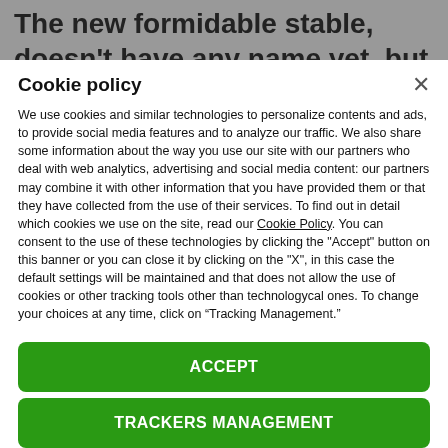The new formidable stable, doesn't have any name yet, but they are arguably the biggest threat to the Shield.
Cookie policy
We use cookies and similar technologies to personalize contents and ads, to provide social media features and to analyze our traffic. We also share some information about the way you use our site with our partners who deal with web analytics, advertising and social media content: our partners may combine it with other information that you have provided them or that they have collected from the use of their services. To find out in detail which cookies we use on the site, read our Cookie Policy. You can consent to the use of these technologies by clicking the "Accept" button on this banner or you can close it by clicking on the "X", in this case the default settings will be maintained and that does not allow the use of cookies or other tracking tools other than technologycal ones. To change your choices at any time, click on “Tracking Management.”
ACCEPT
TRACKERS MANAGEMENT
Show vendors | Show purposes